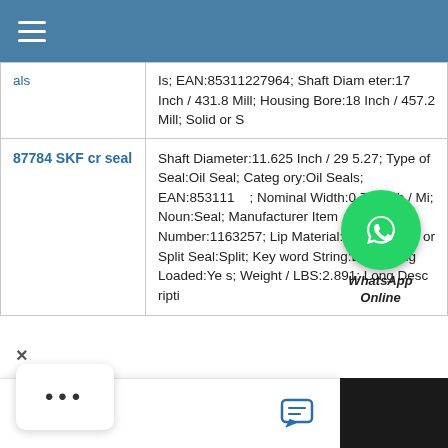Menu navigation header
| Product | Description |
| --- | --- |
| als | Is; EAN:85311227964; Shaft Diameter:17 Inch / 431.8 Mill; Housing Bore:18 Inch / 457.2 Mill; Solid or S |
| 87784 SKF cr seal | Shaft Diameter:11.625 Inch / 295.27; Type of Seal:Oil Seal; Category:Oil Seals; EAN:853111...; Nominal Width:0.75 Inch / Mi; Noun:Seal; Manufacturer Item Number:1163257; Lip Material:Nitrile; Solid or Split Seal:Split; Keyword String:Lip; Spring Loaded:Yes; Weight / LBS:2.891; Long Descripti |
[Figure (illustration): WhatsApp Online chat widget overlay with green WhatsApp logo circle, 'WhatsApp Online' label]
Chat now